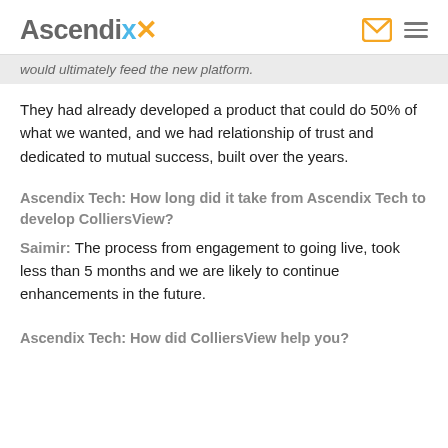Ascendix
would ultimately feed the new platform.
They had already developed a product that could do 50% of what we wanted, and we had relationship of trust and dedicated to mutual success, built over the years.
Ascendix Tech: How long did it take from Ascendix Tech to develop ColliersView?
Saimir: The process from engagement to going live, took less than 5 months and we are likely to continue enhancements in the future.
Ascendix Tech: How did ColliersView help you?